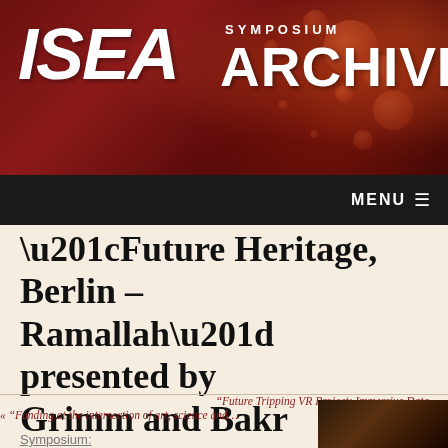[Figure (logo): ISEA Symposium Archives logo on dark red background with decorative bubble bokeh effects]
MENU ≡
“Future Heritage, Berlin – Ramallah” presented by Grimm and Bakr
“Future Tripping VR Project: Immersive Data… »
« “Funding at the intersection of art, science and…
Symposium:
[Figure (photo): Small thumbnail photo at bottom right, dark tones with warm lighting, appears to show textured surface]